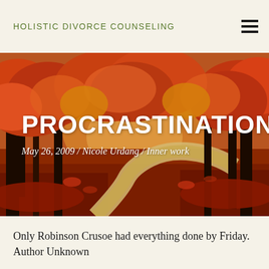HOLISTIC DIVORCE COUNSELING
[Figure (photo): Autumn forest scene with red and orange fall foliage on trees lining a winding dirt path, with fallen leaves carpeting the ground in warm reds and browns.]
PROCRASTINATION
May 26, 2009 / Nicole Urdang / Inner work
Only Robinson Crusoe had everything done by Friday.  Author Unknown